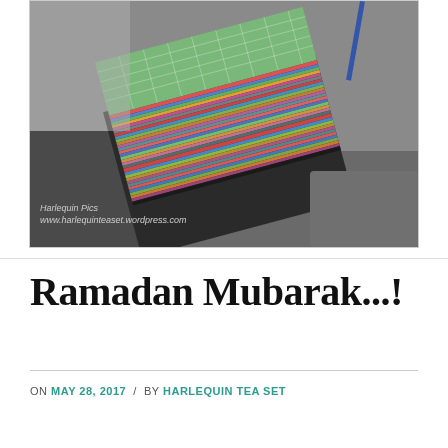[Figure (photo): A black and white photo with color accent showing a stack of colorful notebook or journal pages/paper, with a green grid patterned cover on top. A pen is visible on the right. Watermark text reads 'Harlequin Pics / www.harlequinteaset.wordpress.com' in the lower left.]
Ramadan Mubarak...!
ON MAY 28, 2017 / BY HARLEQUIN TEA SET